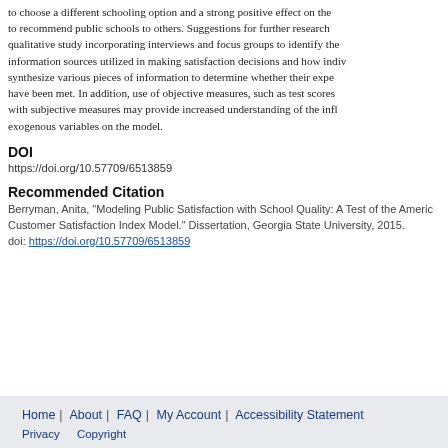to choose a different schooling option and a strong positive effect on the to recommend public schools to others. Suggestions for further research qualitative study incorporating interviews and focus groups to identify the information sources utilized in making satisfaction decisions and how indiv synthesize various pieces of information to determine whether their expe have been met. In addition, use of objective measures, such as test scores with subjective measures may provide increased understanding of the infl exogenous variables on the model.
DOI
https://doi.org/10.57709/6513859
Recommended Citation
Berryman, Anita, "Modeling Public Satisfaction with School Quality: A Test of the Americ Customer Satisfaction Index Model." Dissertation, Georgia State University, 2015. doi: https://doi.org/10.57709/6513859
Home | About | FAQ | My Account | Accessibility Statement Privacy Copyright